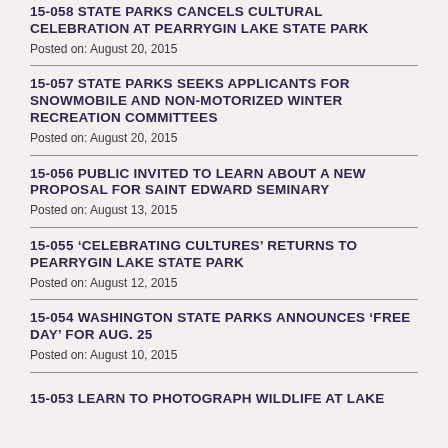15-058 STATE PARKS CANCELS CULTURAL CELEBRATION AT PEARRYGIN LAKE STATE PARK
Posted on: August 20, 2015
15-057 STATE PARKS SEEKS APPLICANTS FOR SNOWMOBILE AND NON-MOTORIZED WINTER RECREATION COMMITTEES
Posted on: August 20, 2015
15-056 PUBLIC INVITED TO LEARN ABOUT A NEW PROPOSAL FOR SAINT EDWARD SEMINARY
Posted on: August 13, 2015
15-055 ‘CELEBRATING CULTURES’ RETURNS TO PEARRYGIN LAKE STATE PARK
Posted on: August 12, 2015
15-054 WASHINGTON STATE PARKS ANNOUNCES ‘FREE DAY’ FOR AUG. 25
Posted on: August 10, 2015
15-053 LEARN TO PHOTOGRAPH WILDLIFE AT LAKE